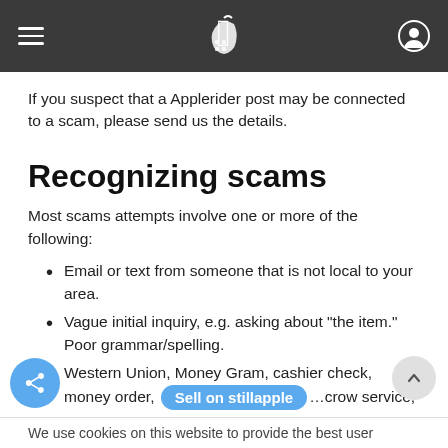Applerider header with hamburger menu, logo, and user icon
If you suspect that a Applerider post may be connected to a scam, please send us the details.
Recognizing scams
Most scams attempts involve one or more of the following:
Email or text from someone that is not local to your area.
Vague initial inquiry, e.g. asking about "the item." Poor grammar/spelling.
Western Union, Money Gram, cashier check, money order, [Sell on stillapple] …crow service, or
We use cookies on this website to provide the best user